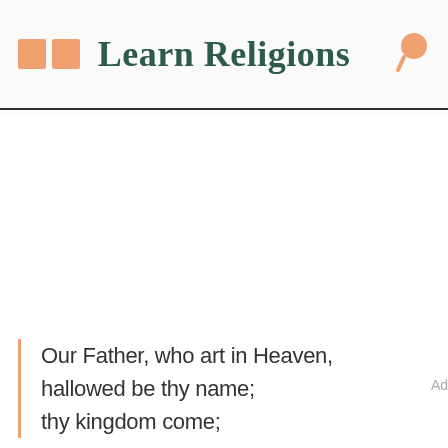Learn Religions
Our Father, who art in Heaven, hallowed be thy name; thy kingdom come;